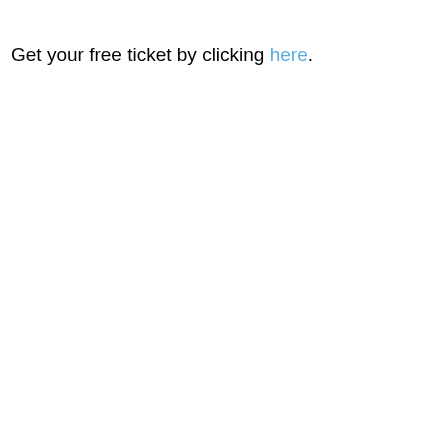Get your free ticket by clicking here.